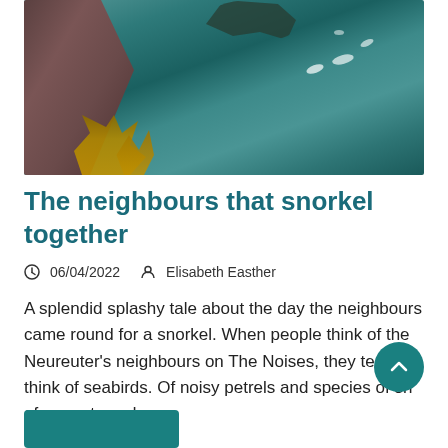[Figure (photo): Underwater photograph showing rocky reef with kelp/seaweed in the foreground, teal/green water, and small fish or marine life in the background. Possible seal or marine animal silhouette at top.]
The neighbours that snorkel together
06/04/2022   Elisabeth Easther
A splendid splashy tale about the day the neighbours came round for a snorkel. When people think of the Neureuter's neighbours on The Noises, they tend to think of seabirds. Of noisy petrels and species of sh of gannets and…